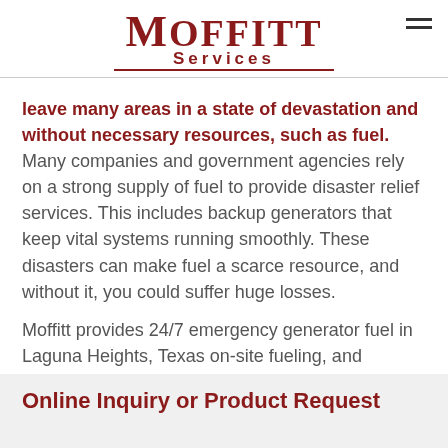Moffitt Services
leave many areas in a state of devastation and without necessary resources, such as fuel. Many companies and government agencies rely on a strong supply of fuel to provide disaster relief services. This includes backup generators that keep vital systems running smoothly. These disasters can make fuel a scarce resource, and without it, you could suffer huge losses.
Moffitt provides 24/7 emergency generator fuel in Laguna Heights, Texas on-site fueling, and dedicated fuel trucks to your organization during emergency situations.
Online Inquiry or Product Request